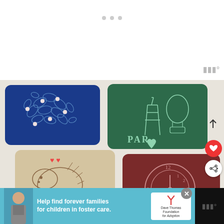[Figure (screenshot): Top white area with three grey dots (carousel indicators) centered near top, and a Millefeuille-style icon in the top right corner]
[Figure (photo): Photo of four decorative leather pouches/wallets on a white knit background: top-left is blue with embroidered leaf/flower pattern and pearl beads, top-right is green with Paris Eiffel Tower and hot air balloon stamp design, bottom-left is beige/tan with hedgehog illustration and red hearts, bottom-right is dark red/burgundy with vintage clock stamp. 'Craft Passion' watermark visible at bottom. Social media buttons (heart, share) on right side. 'What's Next' box showing Leather Key Pouch thumbnail.]
[Figure (infographic): Bottom advertisement bar: teal/cyan background showing a young man, text 'Help find forever families for children in foster care.' with Dave Thomas Foundation for Adoption logo on white background. Close X button. Black section on right with white millefeuille-style icon.]